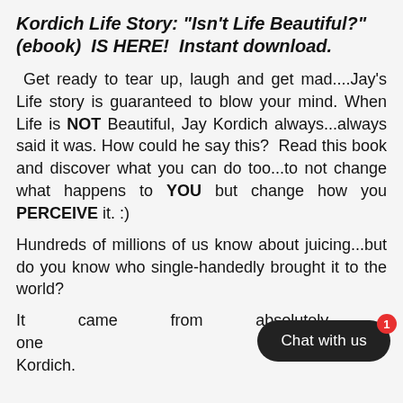Kordich Life Story: "Isn't Life Beautiful?" (ebook)  IS HERE!  Instant download.
Get ready to tear up, laugh and get mad....Jay's Life story is guaranteed to blow your mind. When Life is NOT Beautiful, Jay Kordich always...always said it was. How could he say this?  Read this book and discover what you can do too...to not change what happens to YOU but change how you PERCEIVE it. :)
Hundreds of millions of us know about juicing...but do you know who single-handedly brought it to the world?
It came from absolutely - one Kordich.